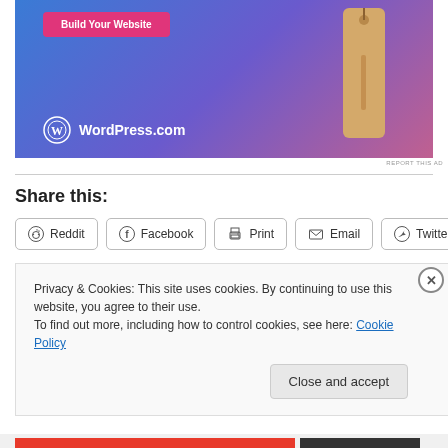[Figure (illustration): WordPress.com advertisement banner with blue-purple-pink gradient background, a pink 'Build Your Website' button, a tan price tag graphic, and the WordPress.com logo with text.]
REPORT THIS AD
Share this:
Reddit
Facebook
Print
Email
Twitter
Privacy & Cookies: This site uses cookies. By continuing to use this website, you agree to their use.
To find out more, including how to control cookies, see here: Cookie Policy
Close and accept